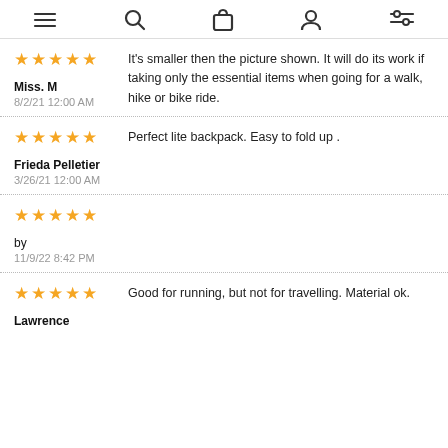Menu | Search | Cart | User | Filter icons
It's smaller then the picture shown. It will do its work if taking only the essential items when going for a walk, hike or bike ride.
Miss. M
8/2/21 12:00 AM
Perfect lite backpack. Easy to fold up .
Frieda Pelletier
3/26/21 12:00 AM
by
11/9/22 8:42 PM
Good for running, but not for travelling. Material ok.
Lawrence